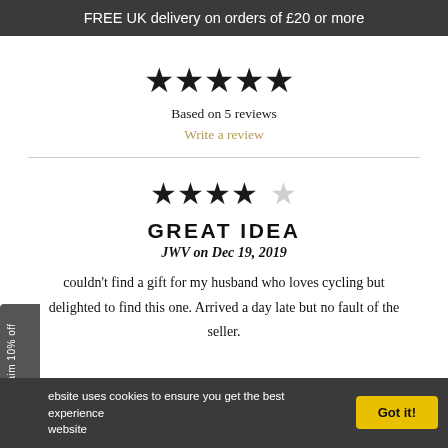FREE UK delivery on orders of £20 or more
[Figure (other): 5 filled black stars rating]
Based on 5 reviews
Write a review
[Figure (other): 4 out of 5 stars rating]
GREAT IDEA
JWV on Dec 19, 2019
couldn't find a gift for my husband who loves cycling but delighted to find this one. Arrived a day late but no fault of the seller.
Claim 10% off
ebsite uses cookies to ensure you get the best experience website